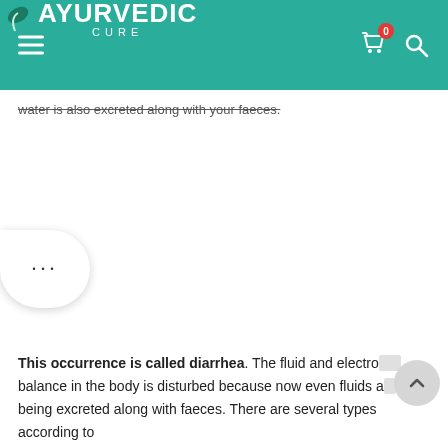Ayurvedic Cure
water is also excreted along with your faeces.
[Figure (other): Chat bubble with three dots indicating loading or comment]
This occurrence is called diarrhea. The fluid and electrolyte balance in the body is disturbed because now even fluids a... being excreted along with faeces. There are several types according to...